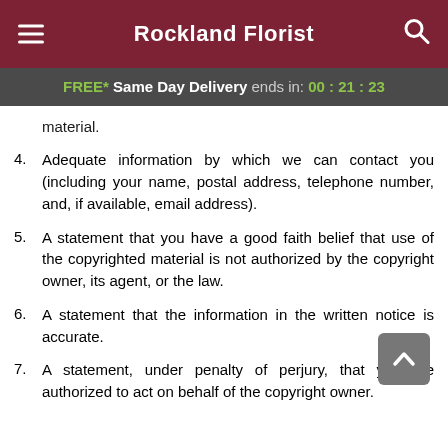Rockland Florist
FREE* Same Day Delivery ends in: 00:21:23
material.
4. Adequate information by which we can contact you (including your name, postal address, telephone number, and, if available, email address).
5. A statement that you have a good faith belief that use of the copyrighted material is not authorized by the copyright owner, its agent, or the law.
6. A statement that the information in the written notice is accurate.
7. A statement, under penalty of perjury, that you are authorized to act on behalf of the copyright owner.